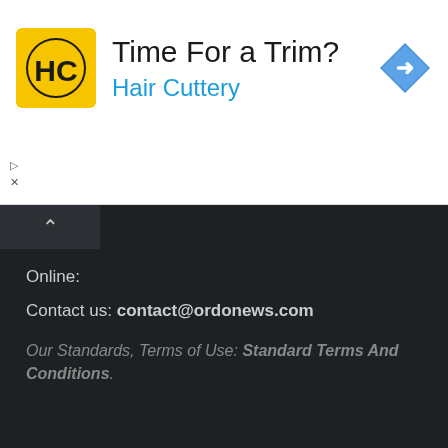[Figure (screenshot): Hair Cuttery advertisement banner with yellow HC logo, headline 'Time For a Trim?', blue subtext 'Hair Cuttery', and a blue map/directions diamond icon on the right. Small play and X controls at lower left.]
Online:
Contact us: contact@ordonews.com
Our Standards, Terms of Use: Standard Terms And Conditions.
[Figure (other): Social media share buttons row: Facebook, Twitter, LinkedIn, Tumblr, Pinterest, Reddit, VKontakte]